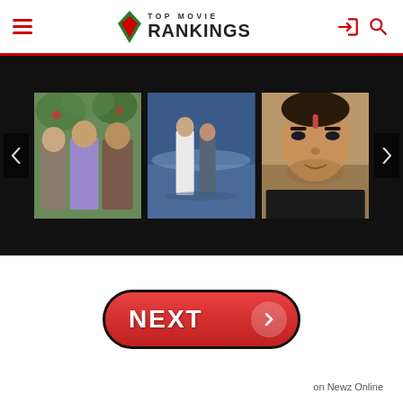TOP MOVIE RANKINGS
[Figure (screenshot): Image slider showing three movie stills: group of men in colorful outdoor setting, couple standing near water at dusk, close-up of man with tilak marking]
[Figure (other): NEXT navigation button with red pill-shape and right arrow circle]
on Newz Online